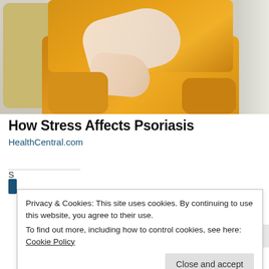[Figure (photo): Woman in a yellow/mustard knit sweater sitting on a sofa, holding and scratching her arm with dark-painted fingernails, suggesting a skin condition like psoriasis.]
How Stress Affects Psoriasis
HealthCentral.com
Privacy & Cookies: This site uses cookies. By continuing to use this website, you agree to their use.
To find out more, including how to control cookies, see here: Cookie Policy
Close and accept